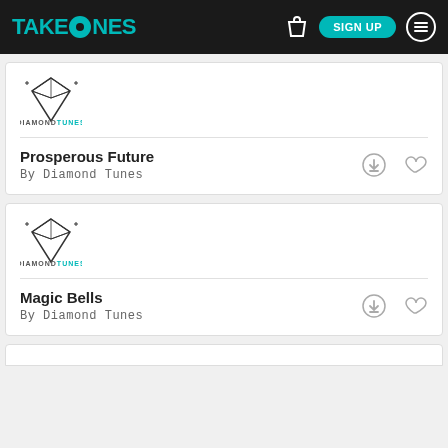TAKETONES — SIGN UP
[Figure (logo): Diamond Tunes logo with diamond gem and text]
Prosperous Future
By Diamond Tunes
[Figure (logo): Diamond Tunes logo with diamond gem and text]
Magic Bells
By Diamond Tunes